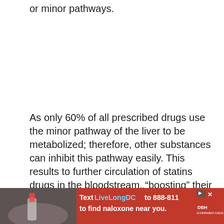or minor pathways.
As only 60% of all prescribed drugs use the minor pathway of the liver to be metabolized; therefore, other substances can inhibit this pathway easily. This results to further circulation of statins drugs in the bloodstream, “boosting” their effect or/and side effects.
Thus, you might be experiencing the statin drug side effects, including muscle pain and weakness because when they get into muscle tissue it begins to break down.
[Figure (other): Advertisement banner with red background. Text reads: 'Text LiveLongDC to 888-811 to find naloxone near you.' with logos and close button. Left side shows a partial photo of hands holding a nasal spray.]